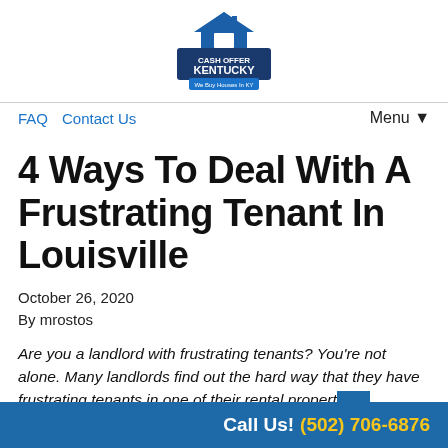[Figure (logo): Cash Offer Kentucky logo with house icon and text 'We Buy Houses In KY']
FAQ  Contact Us  Menu▼
4 Ways To Deal With A Frustrating Tenant In Louisville
October 26, 2020
By mrostos
Are you a landlord with frustrating tenants? You're not alone. Many landlords find out the hard way that they have frustrating tenants in one of their rental properties...
Call Us! (502) 706-6876